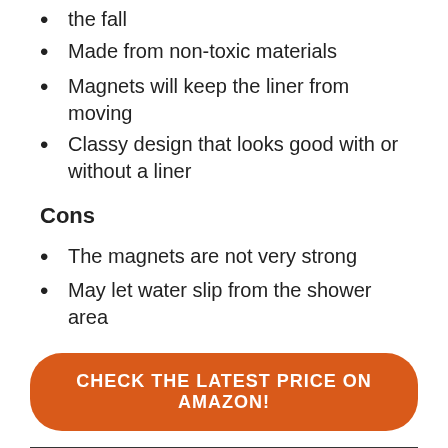the fall
Made from non-toxic materials
Magnets will keep the liner from moving
Classy design that looks good with or without a liner
Cons
The magnets are not very strong
May let water slip from the shower area
CHECK THE LATEST PRICE ON AMAZON!
3. iDesign PEVA Plastic Shower Curtain Liner